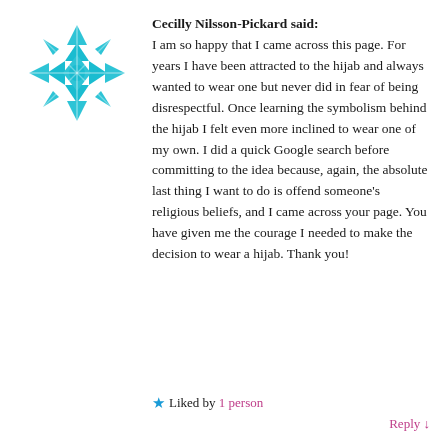[Figure (illustration): Teal/cyan decorative snowflake or mandala-style avatar icon, circular shape with geometric pattern]
Cecilly Nilsson-Pickard said:
I am so happy that I came across this page. For years I have been attracted to the hijab and always wanted to wear one but never did in fear of being disrespectful. Once learning the symbolism behind the hijab I felt even more inclined to wear one of my own. I did a quick Google search before committing to the idea because, again, the absolute last thing I want to do is offend someone's religious beliefs, and I came across your page. You have given me the courage I needed to make the decision to wear a hijab. Thank you!
★ Liked by 1 person
Reply ↓